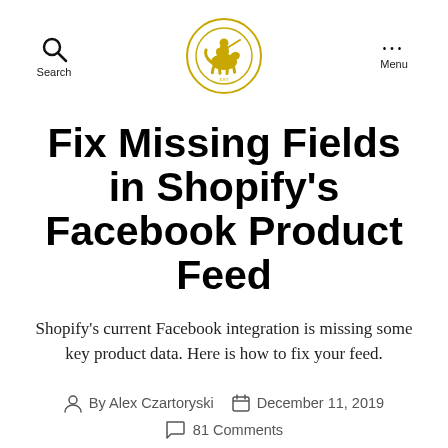Search | Menu
[Figure (logo): Circular logo with gold border featuring a knight on horseback illustration]
Fix Missing Fields in Shopify's Facebook Product Feed
Shopify's current Facebook integration is missing some key product data. Here is how to fix your feed.
By Alex Czartoryski   December 11, 2019   81 Comments